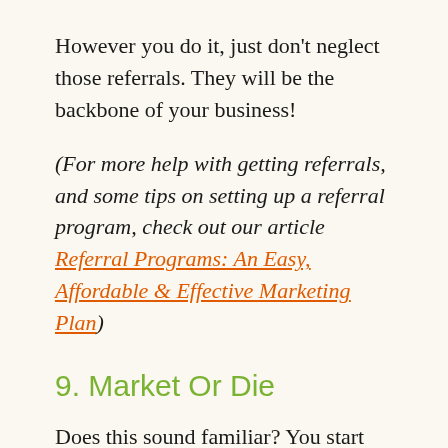However you do it, just don't neglect those referrals. They will be the backbone of your business!
(For more help with getting referrals, and some tips on setting up a referral program, check out our article Referral Programs: An Easy, Affordable & Effective Marketing Plan)
9. Market Or Die
Does this sound familiar? You start